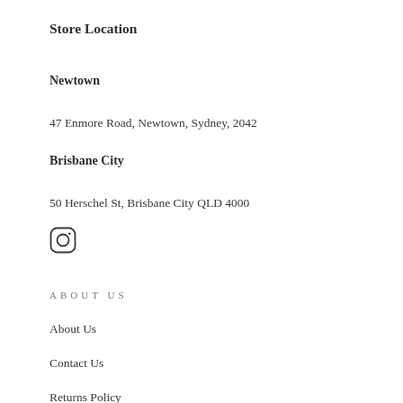Store Location
Newtown
47 Enmore Road, Newtown, Sydney, 2042
Brisbane City
50 Herschel St, Brisbane City QLD 4000
[Figure (logo): Instagram icon (camera outline with rounded square border)]
ABOUT US
About Us
Contact Us
Returns Policy